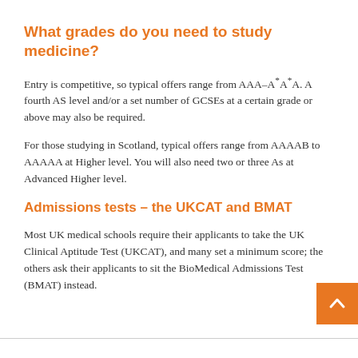What grades do you need to study medicine?
Entry is competitive, so typical offers range from AAA–A*A*A. A fourth AS level and/or a set number of GCSEs at a certain grade or above may also be required.
For those studying in Scotland, typical offers range from AAAAB to AAAAA at Higher level. You will also need two or three As at Advanced Higher level.
Admissions tests – the UKCAT and BMAT
Most UK medical schools require their applicants to take the UK Clinical Aptitude Test (UKCAT), and many set a minimum score; the others ask their applicants to sit the BioMedical Admissions Test (BMAT) instead.